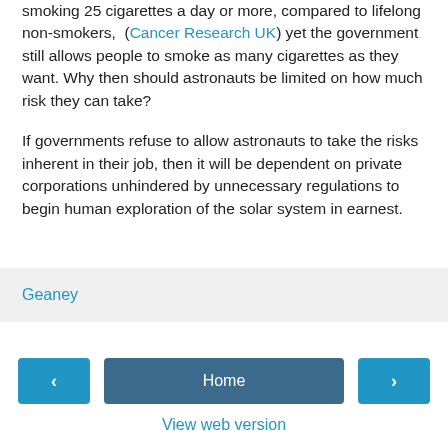smoking 25 cigarettes a day or more, compared to lifelong non-smokers," (Cancer Research UK) yet the government still allows people to smoke as many cigarettes as they want. Why then should astronauts be limited on how much risk they can take?

If governments refuse to allow astronauts to take the risks inherent in their job, then it will be dependent on private corporations unhindered by unnecessary regulations to begin human exploration of the solar system in earnest.
Geaney
Home | View web version